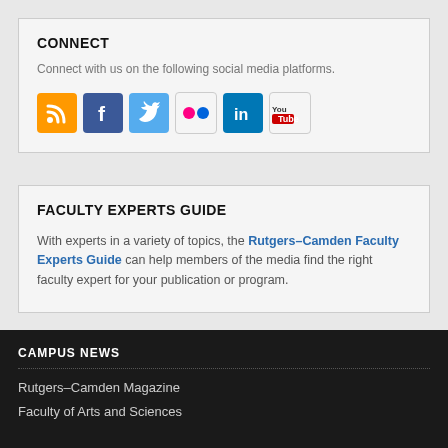CONNECT
Connect with us on the following social media platforms.
[Figure (other): Row of social media icons: RSS (orange), Facebook (blue), Twitter (light blue), Flickr (white/pink dots), LinkedIn (blue), YouTube (white/red logo)]
FACULTY EXPERTS GUIDE
With experts in a variety of topics, the Rutgers–Camden Faculty Experts Guide can help members of the media find the right faculty expert for your publication or program.
CAMPUS NEWS
Rutgers–Camden Magazine
Faculty of Arts and Sciences